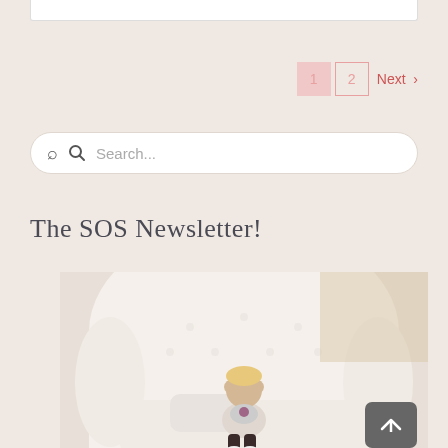1  2  Next  >
Search...
The SOS Newsletter!
[Figure (photo): A young toddler with blonde hair sitting in a large white tufted wingback armchair, covering their face with their hands, wearing a floral shirt and dark pants]